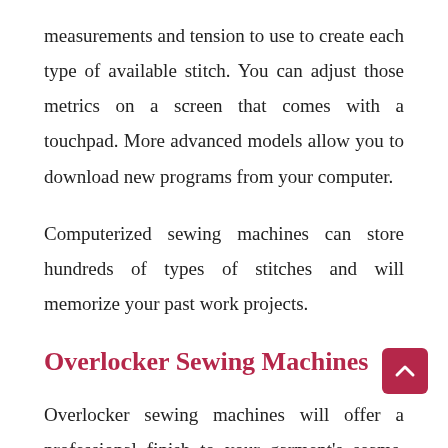measurements and tension to use to create each type of available stitch. You can adjust those metrics on a screen that comes with a touchpad. More advanced models allow you to download new programs from your computer.
Computerized sewing machines can store hundreds of types of stitches and will memorize your past work projects.
Overlocker Sewing Machines
Overlocker sewing machines will offer a professional finish to your garment's seams. They're created to stop fraying.